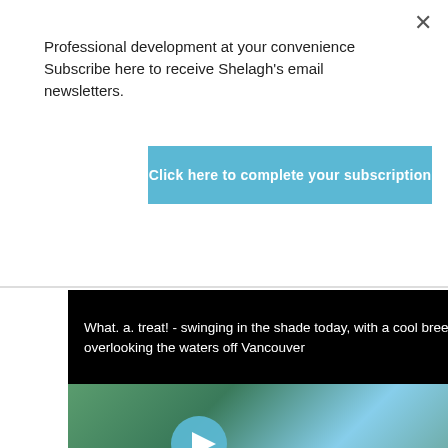Professional development at your convenience Subscribe here to receive Shelagh's email newsletters.
Click here to complete your subscription
[Figure (screenshot): Tweet card with black background showing text: 'What. a. treat! - swinging in the shade today, with a cool breeze overlooking the waters off Vancouver' with hashtags #TwitterNaturePhotography #TwitterNatureCommunity #vancouver @KasiaBodurka #weather #summerfun #chill #relax]
[Figure (photo): Outdoor nature photo showing trees, water/harbor, and blue sky with a play button overlay indicating a video]